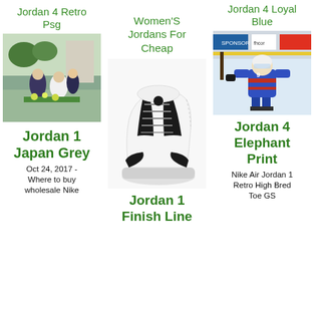Jordan 4 Retro Psg
[Figure (photo): Group of people outdoors near plants]
Women'S Jordans For Cheap
[Figure (photo): White and black Air Jordan sneaker]
Jordan 4 Loyal Blue
[Figure (photo): Ice hockey player in blue and red uniform skating]
Jordan 1 Japan Grey
Oct 24, 2017 - Where to buy wholesale Nike
Jordan 1 Finish Line
Jordan 4 Elephant Print
Nike Air Jordan 1 Retro High Bred Toe GS